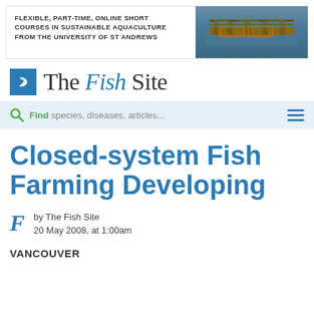[Figure (photo): Banner advertisement for flexible, part-time, online short courses in sustainable aquaculture from the University of St Andrews, with a photo of a fish farm on water]
[Figure (logo): The Fish Site logo: blue square with stylized fish icon, followed by text 'The Fish Site' in serif/sans font]
Find species, diseases, articles...
Closed-system Fish Farming Developing
by The Fish Site
20 May 2008, at 1:00am
VANCOUVER